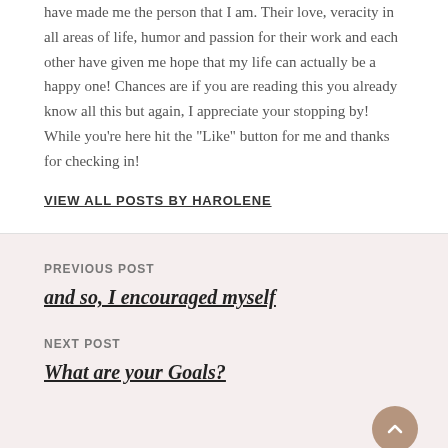have made me the person that I am. Their love, veracity in all areas of life, humor and passion for their work and each other have given me hope that my life can actually be a happy one! Chances are if you are reading this you already know all this but again, I appreciate your stopping by! While you're here hit the "Like" button for me and thanks for checking in!
VIEW ALL POSTS BY HAROLENE
PREVIOUS POST
and so, I encouraged myself
NEXT POST
What are your Goals?